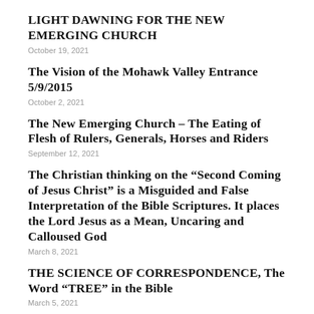LIGHT DAWNING FOR THE NEW EMERGING CHURCH
October 19, 2021
The Vision of the Mohawk Valley Entrance  5/9/2015
October 2, 2021
The New Emerging Church – The Eating of Flesh of Rulers, Generals, Horses and Riders
September 12, 2021
The Christian thinking on the “Second Coming of Jesus Christ” is a Misguided and False Interpretation of the Bible Scriptures. It places the Lord Jesus as a Mean, Uncaring and Calloused God
March 8, 2021
THE SCIENCE OF CORRESPONDENCE, The Word “TREE” in the Bible
March 5, 2021